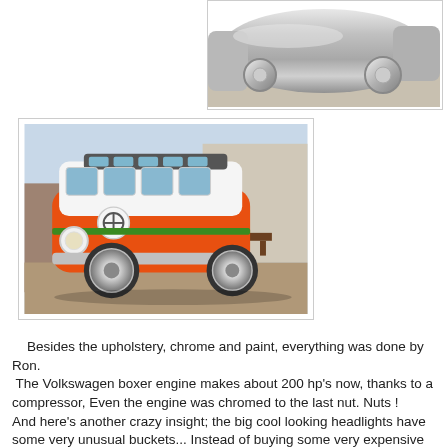[Figure (photo): Close-up of a chrome/metallic custom car body with two chrome wheels visible, shot from low angle on a floor surface.]
[Figure (photo): A custom orange and white Volkswagen Type 2 (VW Bus/Microbus) with lowered suspension, chrome wheels, panoramic roof windows, and green stripe detail, photographed outdoors on a patio with mountains in background.]
Besides the upholstery, chrome and paint, everything was done by Ron.
 The Volkswagen boxer engine makes about 200 hp's now, thanks to a compressor, Even the engine was chromed to the last nut. Nuts !
And here's another crazy insight; the big cool looking headlights have some very unusual buckets... Instead of buying some very expensive chromed buckets from the car parts shop, Ron used salad bowls. Yeah, salad bowls !